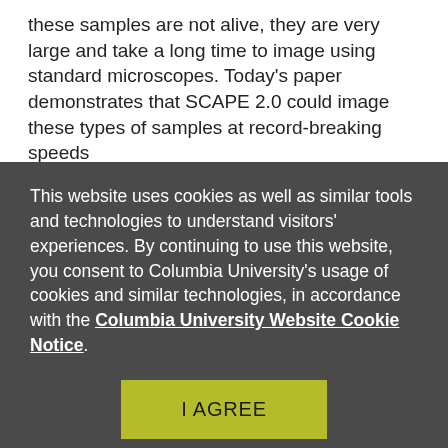these samples are not alive, they are very large and take a long time to image using standard microscopes. Today's paper demonstrates that SCAPE 2.0 could image these types of samples at record-breaking speeds
Dr. Hillman and her team are continuing to develop and
This website uses cookies as well as similar tools and technologies to understand visitors' experiences. By continuing to use this website, you consent to Columbia University's usage of cookies and similar technologies, in accordance with the Columbia University Website Cookie Notice.
I AGREE